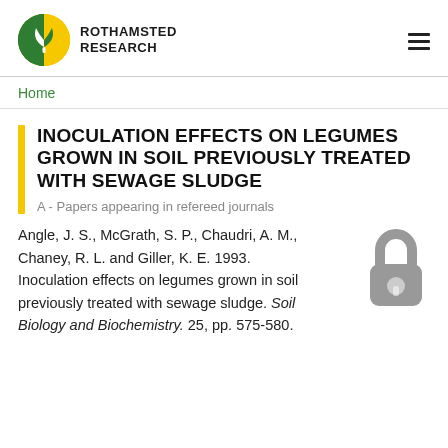ROTHAMSTED RESEARCH
Home
INOCULATION EFFECTS ON LEGUMES GROWN IN SOIL PREVIOUSLY TREATED WITH SEWAGE SLUDGE
A - Papers appearing in refereed journals
Angle, J. S., McGrath, S. P., Chaudri, A. M., Chaney, R. L. and Giller, K. E. 1993. Inoculation effects on legumes grown in soil previously treated with sewage sludge. Soil Biology and Biochemistry. 25, pp. 575-580.
[Figure (illustration): Gray padlock icon indicating restricted/locked access]